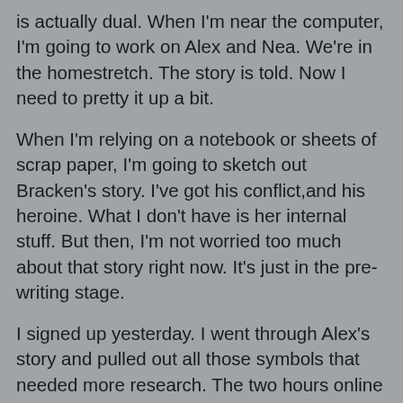is actually dual. When I'm near the computer, I'm going to work on Alex and Nea. We're in the homestretch. The story is told. Now I need to pretty it up a bit.
When I'm relying on a notebook or sheets of scrap paper, I'm going to sketch out Bracken's story. I've got his conflict,and his heroine. What I don't have is her internal stuff. But then, I'm not worried too much about that story right now. It's just in the pre-writing stage.
I signed up yesterday. I went through Alex's story and pulled out all those symbols that needed more research. The two hours online resulted in less than a dozen words, but led to another layer in several scenes. I made the 750 word goal through that exercise alone.
Today was a busy work day, both jobs for a total of 13 hours out of the house. The good news is I named Bracken's heroine, got a sense of her personality and one of her quirks. A paragraph during one break, half a page on another one. I'm not sure of the actual word count today because I wrote a page of dialogue with Alex and Pzuzu. That bar scene sure